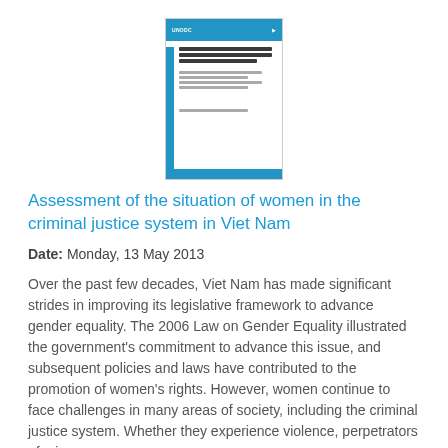[Figure (illustration): Thumbnail cover image of a document report with blue header bar, blue left sidebar, and blue footer bar, on white background with text lines.]
Assessment of the situation of women in the criminal justice system in Viet Nam
Date: Monday, 13 May 2013
Over the past few decades, Viet Nam has made significant strides in improving its legislative framework to advance gender equality. The 2006 Law on Gender Equality illustrated the government's commitment to advance this issue, and subsequent policies and laws have contributed to the promotion of women's rights. However, women continue to face challenges in many areas of society, including the criminal justice system. Whether they experience violence, perpetrators of crimes, or...
1 - 2 of 2 Results